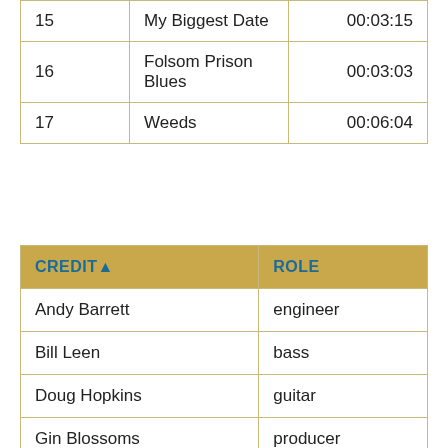| 15 | My Biggest Date | 00:03:15 |
| 16 | Folsom Prison Blues | 00:03:03 |
| 17 | Weeds | 00:06:04 |
| CREDIT ▲ | ROLE |
| --- | --- |
| Andy Barrett | engineer |
| Bill Leen | bass |
| Doug Hopkins | guitar |
| Gin Blossoms | producer |